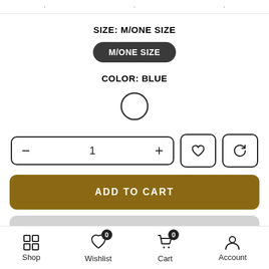navigation bar top
SIZE: M/ONE SIZE
M/ONE SIZE
COLOR: BLUE
[Figure (other): White circle color swatch with dark border representing blue color option]
[Figure (other): Quantity selector showing minus button, 1, plus button; heart/wishlist icon button; refresh/compare icon button]
ADD TO CART
BUY IT NOW
Shop | Wishlist 0 | Cart 0 | Account